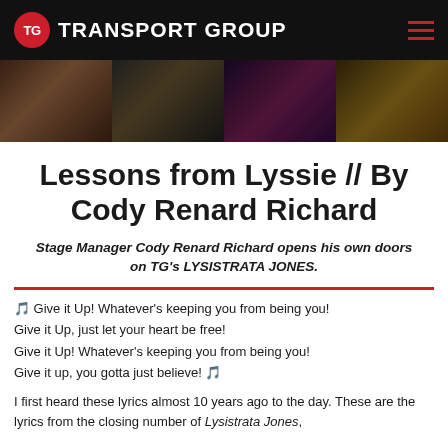TG TRANSPORT GROUP
[Figure (photo): Theatre photo strip with four panels showing stage performance scenes]
Lessons from Lyssie // By Cody Renard Richard
Stage Manager Cody Renard Richard opens his own doors on TG's LYSISTRATA JONES.
🎵 Give it Up! Whatever's keeping you from being you!
Give it Up, just let your heart be free!
Give it Up! Whatever's keeping you from being you!
Give it up, you gotta just believe! 🎵
I first heard these lyrics almost 10 years ago to the day. These are the lyrics from the closing number of Lysistrata Jones,